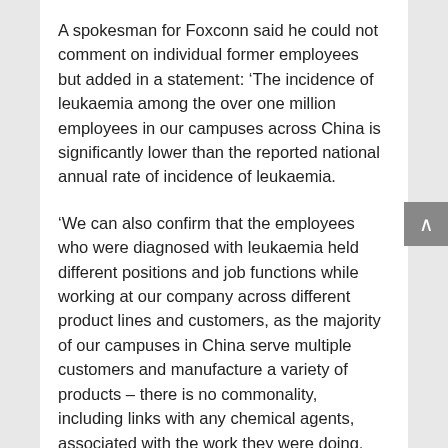A spokesman for Foxconn said he could not comment on individual former employees but added in a statement: ‘The incidence of leukaemia among the over one million employees in our campuses across China is significantly lower than the reported national annual rate of incidence of leukaemia.
‘We can also confirm that the employees who were diagnosed with leukaemia held different positions and job functions while working at our company across different product lines and customers, as the majority of our campuses in China serve multiple customers and manufacture a variety of products – there is no commonality, including links with any chemical agents, associated with the work they were doing.
‘Foxconn does not allow any entity within our company to use benzene or n-hexane, and has not procured or